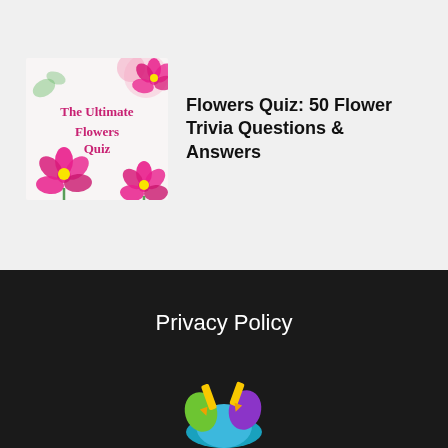[Figure (illustration): The Ultimate Flowers Quiz book cover with pink flowers on white background]
Flowers Quiz: 50 Flower Trivia Questions & Answers
Privacy Policy
[Figure (logo): Colorful logo with green, purple and yellow shapes at bottom of dark footer]